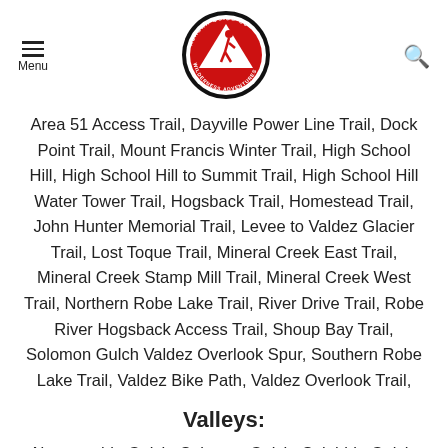Menu | Alaska Guide Co Wilderness Adventures logo | Search
Area 51 Access Trail, Dayville Power Line Trail, Dock Point Trail, Mount Francis Winter Trail, High School Hill, High School Hill to Summit Trail, High School Hill Water Tower Trail, Hogsback Trail, Homestead Trail, John Hunter Memorial Trail, Levee to Valdez Glacier Trail, Lost Toque Trail, Mineral Creek East Trail, Mineral Creek Stamp Mill Trail, Mineral Creek West Trail, Northern Robe Lake Trail, River Drive Trail, Robe River Hogsback Access Trail, Shoup Bay Trail, Solomon Gulch Valdez Overlook Spur, Southern Robe Lake Trail, Valdez Bike Path, Valdez Overlook Trail,
Valleys:
Abercrombie Gulch, Solomon Gulch, Sulphide Gulch,